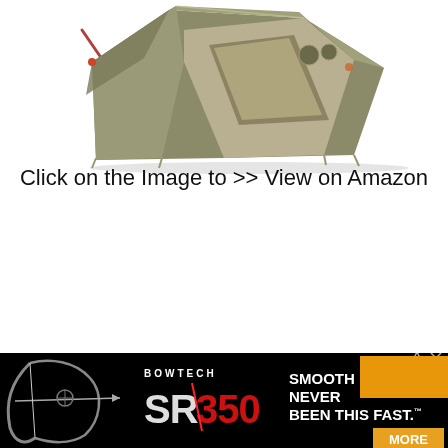[Figure (photo): A khaki/tan colored camping tent (Big Agnes style) photographed on a white background, showing the front with a door opening, viewed from a slight angle.]
Click on the Image to >> View on Amazon
[Figure (other): Advertisement banner for Bowtech SR350 compound bow. Black background with bow outline on left, large red SR350 logo text in center, and white text reading 'SMOOTH HAS NEVER BEEN THIS FAST.' with an orange MORE button on right.]